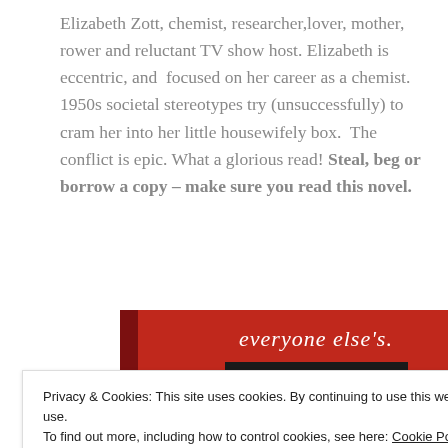Elizabeth Zott, chemist, researcher,lover, mother, rower and reluctant TV show host. Elizabeth is eccentric, and  focused on her career as a chemist. 1950s societal stereotypes try (unsuccessfully) to cram her into her little housewifely box.  The conflict is epic. What a glorious read! Steal, beg or borrow a copy – make sure you read this novel.
[Figure (screenshot): Red banner with italic white text 'everyone else's.' and a dark 'Start reading' button]
Privacy & Cookies: This site uses cookies. By continuing to use this website, you agree to their use.
To find out more, including how to control cookies, see here: Cookie Policy
Close and accept